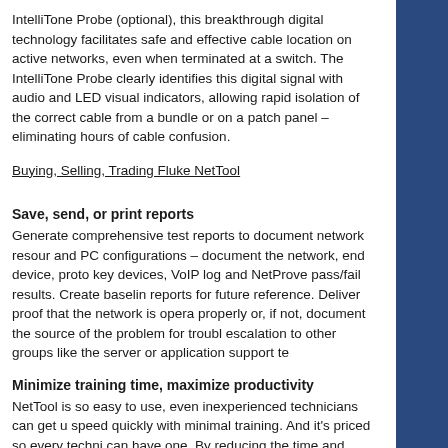IntelliTone Probe (optional), this breakthrough digital technology facilitates safe and effective cable location on active networks, even when terminated at a switch. The IntelliTone Probe clearly identifies this digital signal with audio and LED visual indicators, allowing rapid isolation of the correct cable from a bundle or on a patch panel – eliminating hours of cable confusion.
Buying, Selling, Trading Fluke NetTool
Save, send, or print reports
Generate comprehensive test reports to document network resources and PC configurations – document the network, end device, proto key devices, VoIP log and NetProve pass/fail results. Create baseline reports for future reference. Deliver proof that the network is operating properly or, if not, document the source of the problem for troubl escalation to other groups like the server or application support te
Minimize training time, maximize productivity
NetTool is so easy to use, even inexperienced technicians can get up speed quickly with minimal training. And it's priced so every techni can have one. By reducing the time and expense associated with troubleshooting PC, VoIP, device application connectivity problem NetTool dramatically increases technician productivity.
If you're selling your Fluke NetTool please fill out form on the right